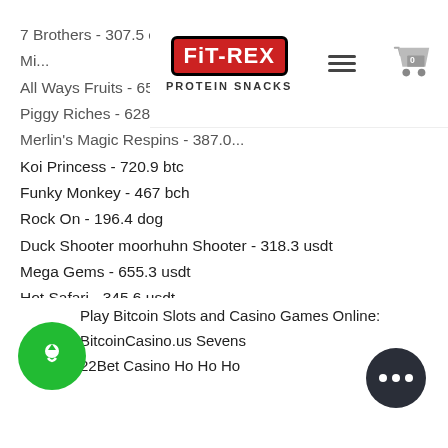[Figure (logo): FiT-REX Protein Snacks logo with red background and hamburger menu icon, plus shopping cart icon with 0 badge]
7 Brothers - 307.5 eth
Mi... (partially obscured)
All Ways Fruits - 650.3 eth
Piggy Riches - 628.4 eth
Merlin's Magic Respins - 387.0...
Koi Princess - 720.9 btc
Funky Monkey - 467 bch
Rock On - 196.4 dog
Duck Shooter moorhuhn Shooter - 318.3 usdt
Mega Gems - 655.3 usdt
Hot Safari - 345.6 usdt
Battle Tanks - 267 ltc
Winner´s Cup - 135 usdt
Mexico Wins - 321.6 btc
Play Bitcoin Slots and Casino Games Online:
BitcoinCasino.us Sevens
22Bet Casino Ho Ho Ho